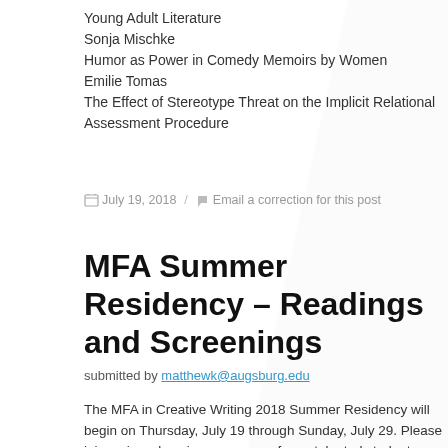Young Adult Literature
Sonja Mischke
Humor as Power in Comedy Memoirs by Women
Emilie Tomas
The Effect of Stereotype Threat on the Implicit Relational Assessment Procedure
July 19, 2018  /  Email a correction for this post
MFA Summer Residency – Readings and Screenings
submitted by matthewk@augsburg.edu
The MFA in Creative Writing 2018 Summer Residency will begin on Thursday, July 19 through Sunday, July 29. Please join us in welcoming our group of very talented students and acclaimed writers to campus for this festival of craft talks, workshops, evening readings and more. This summer's visiting writers include Katelynn Hibbard, winner of the Howling Bird Press Poetry Award; fiction writer Ted Thompson; creative nonfiction writer Kao Kalia Yang,